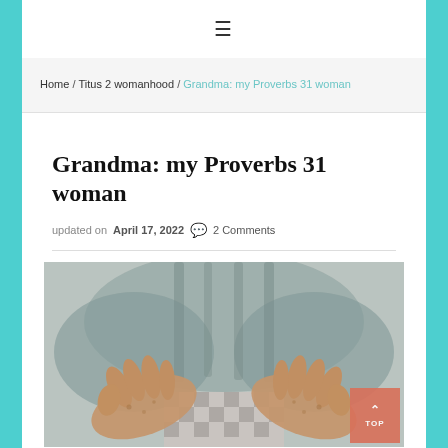≡
Home / Titus 2 womanhood / Grandma: my Proverbs 31 woman
Grandma: my Proverbs 31 woman
updated on April 17, 2022  💬 2 Comments
[Figure (photo): Close-up photo of elderly woman's hands resting on a checkered cloth, with a blurred background of what appears to be a chair or furniture.]